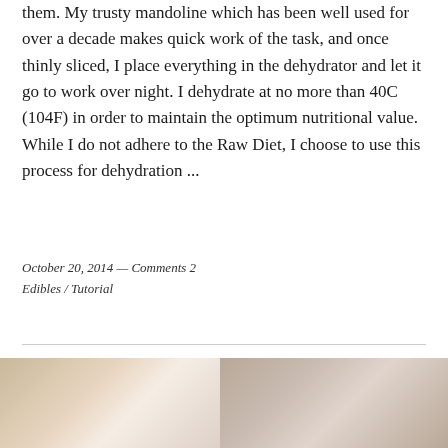them. My trusty mandoline which has been well used for over a decade makes quick work of the task, and once thinly sliced, I place everything in the dehydrator and let it go to work over night. I dehydrate at no more than 40C (104F) in order to maintain the optimum nutritional value. While I do not adhere to the Raw Diet, I choose to use this process for dehydration ...
October 20, 2014 — Comments 2
Edibles / Tutorial
[Figure (photo): Two partial photos side by side at the bottom of the page showing what appear to be food or kitchen items in muted brown and beige tones.]